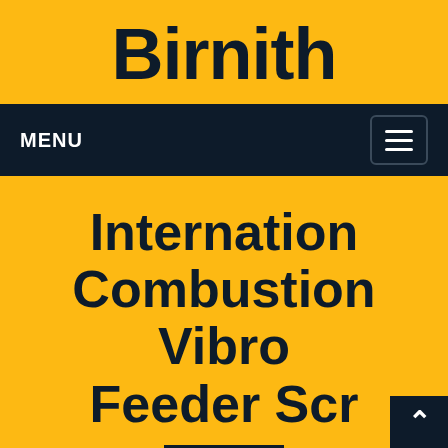Birnith
MENU
Internation Combustion Vibro Feeder Scr
Home / Products